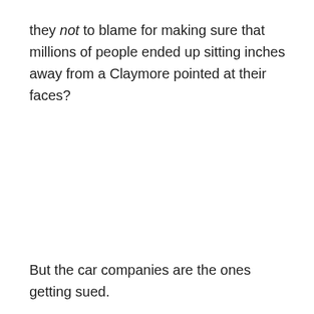they not to blame for making sure that millions of people ended up sitting inches away from a Claymore pointed at their faces?
But the car companies are the ones getting sued.